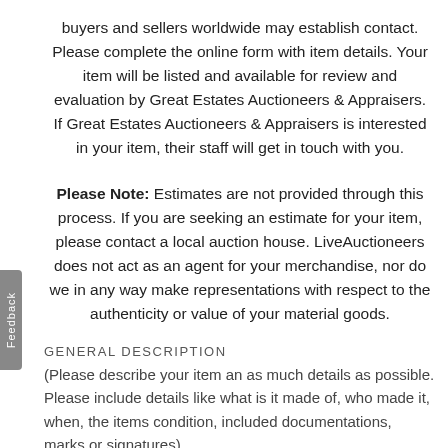buyers and sellers worldwide may establish contact. Please complete the online form with item details. Your item will be listed and available for review and evaluation by Great Estates Auctioneers & Appraisers. If Great Estates Auctioneers & Appraisers is interested in your item, their staff will get in touch with you.
Please Note: Estimates are not provided through this process. If you are seeking an estimate for your item, please contact a local auction house. LiveAuctioneers does not act as an agent for your merchandise, nor do we in any way make representations with respect to the authenticity or value of your material goods.
GENERAL DESCRIPTION
(Please describe your item an as much details as possible. Please include details like what is it made of, who made it, when, the items condition, included documentations, marks or signatures)